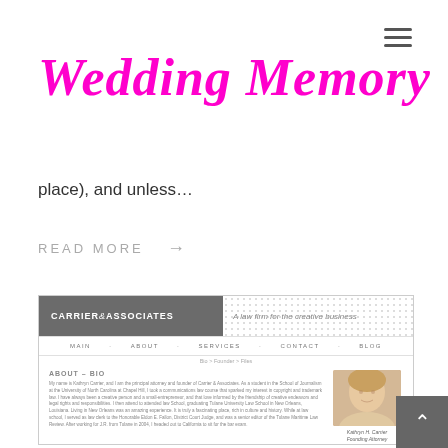[Figure (logo): Hamburger menu icon (three horizontal lines) in top right corner]
Wedding Memory
place), and unless…
READ MORE →
[Figure (screenshot): Screenshot of Carrier & Associates law firm website showing the About-Bio page with navigation menu, bio text, and a photo of Kathryn H. Carrier, Founding Attorney]